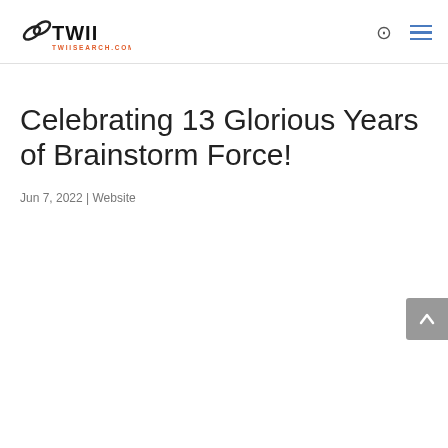TWII TWIISEARCH.COM
Celebrating 13 Glorious Years of Brainstorm Force!
Jun 7, 2022 | Website